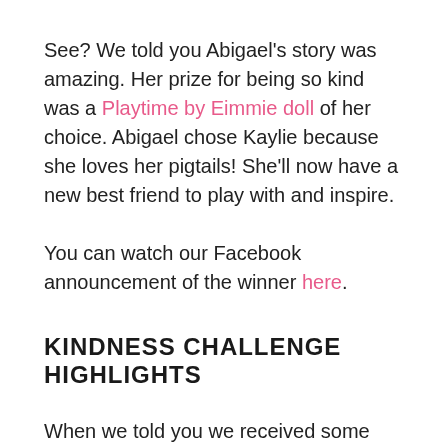See? We told you Abigael's story was amazing. Her prize for being so kind was a Playtime by Eimmie doll of her choice. Abigael chose Kaylie because she loves her pigtails! She'll now have a new best friend to play with and inspire.

You can watch our Facebook announcement of the winner here.
KINDNESS CHALLENGE HIGHLIGHTS
When we told you we received some amazing nominations, we weren't joking! Keep scrolling to read about all the wonderful kiddos working hard to make our
🍪 This website uses cookies to ensure you get the best experience on our website. Learn more